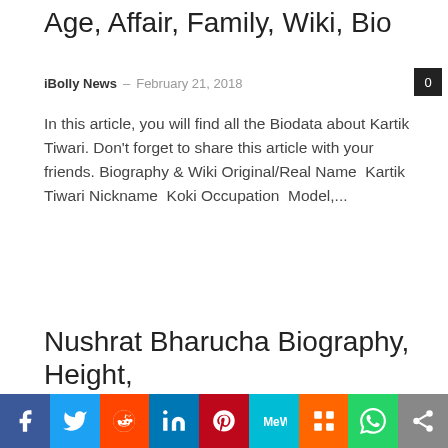Age, Affair, Family, Wiki, Bio
iBolly News · February 21, 2018
In this article, you will find all the Biodata about Kartik Tiwari. Don't forget to share this article with your friends. Biography & Wiki Original/Real Name  Kartik Tiwari Nickname  Koki Occupation  Model,...
Nushrat Bharucha Biography, Height,